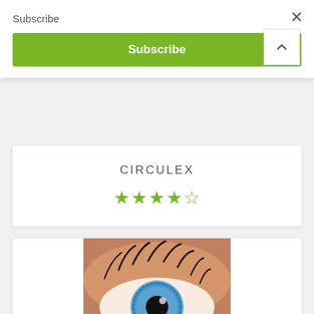Subscribe
×
Subscribe
CIRCULEX
[Figure (other): 4 filled green stars and 1 empty star rating]
[Figure (photo): NutriPur Lutein Plus product box showing an eye close-up with orange NutriPur logo. Text on box: LUTEIN plus, BLUEBERRY+BILBERRY ZEAXANTHIN+VITAMIN A, Maintains eye health and night vision, Maintains eyesight in conditions such as cataracts and AMD, NPN 80058423, 60 vegetarian capsules.]
^